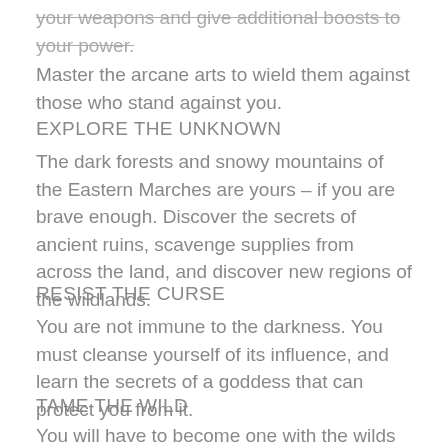your weapons and give additional boosts to your power. Master the arcane arts to wield them against those who stand against you.
EXPLORE THE UNKNOWN
The dark forests and snowy mountains of the Eastern Marches are yours – if you are brave enough. Discover the secrets of ancient ruins, scavenge supplies from across the land, and discover new regions of the wildlands.
RESIST THE CURSE
You are not immune to the darkness. You must cleanse yourself of its influence, and learn the secrets of a goddess that can protect you from it.
TAME THE WILD
You will have to become one with the wilds to survive. Tame a horse to help you travel, or take on the brute power of a wyvern. True beastmasters can even attempt the ultimate challenge and…